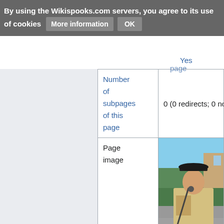By using the Wikispooks.com servers, you agree to its use of cookies   More information   OK
| Property | Value |
| --- | --- |
| Number of subpages of this page | 0 (0 redirects; 0 non-redi... |
| Page image | [photo of military officer] |